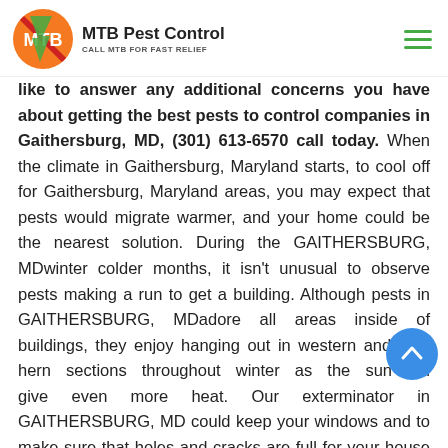MTB Pest Control — CALL MTB FOR FAST RELIEF
like to answer any additional concerns you have about getting the best pests to control companies in Gaithersburg, MD, (301) 613-6570 call today. When the climate in Gaithersburg, Maryland starts, to cool off for Gaithersburg, Maryland areas, you may expect that pests would migrate warmer, and your home could be the nearest solution. During the GAITHERSBURG, MDwinter colder months, it isn't unusual to observe pests making a run to get a building. Although pests in GAITHERSBURG, MDadore all areas inside of buildings, they enjoy hanging out in western and southern sections throughout winter as the sun will give even more heat. Our exterminator in GAITHERSBURG, MD could keep your windows and to make sure that holes and cracks are full for your house or office in